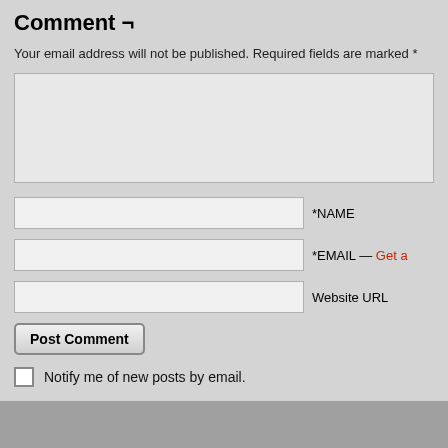Comment ¬
Your email address will not be published. Required fields are marked *
[Figure (screenshot): Comment text area input field (large multi-line)]
*NAME
*EMAIL — Get a
Website URL
Post Comment
Notify me of new posts by email.